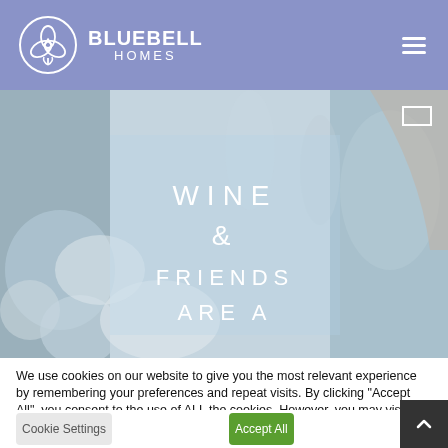[Figure (logo): Bluebell Homes logo — circular floral emblem with BLUEBELL HOMES text in white on blue-purple header bar]
[Figure (photo): Background photo of dining table with wine glasses and plates; overlaid with semi-transparent box containing text WINE & FRIENDS ARE A in white spaced letters]
We use cookies on our website to give you the most relevant experience by remembering your preferences and repeat visits. By clicking “Accept All”, you consent to the use of ALL the cookies. However, you may visit “Cookie Settings” to provide a controlled consent.
Cookie Settings
Accept All